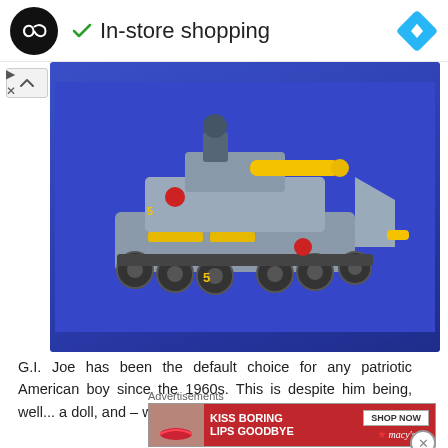[Figure (screenshot): Top navigation bar showing a black circular logo with infinity-like symbol, a green checkmark followed by 'In-store shopping' text, and a blue diamond navigation icon on the right]
[Figure (photo): A gray LEGO-style military tank/vehicle toy with yellow cannon, black wheels/tracks, red Cobra insignia markings, photographed on a blue background]
G.I. Joe has been the default choice for any patriotic American boy since the 1960s. This is despite him being, well... a doll, and – we suspect – boyfriend/GBFF to Barbie
Advertisements
[Figure (screenshot): Advertisement banner for Macy's showing 'KISS BORING LIPS GOODBYE' text on red background with a woman's lips photo, and a 'SHOP NOW' button with Macy's star logo]